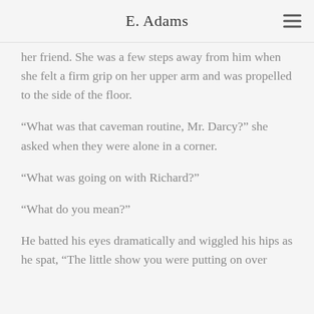E. Adams
her friend. She was a few steps away from him when she felt a firm grip on her upper arm and was propelled to the side of the floor.
“What was that caveman routine, Mr. Darcy?” she asked when they were alone in a corner.
“What was going on with Richard?”
“What do you mean?”
He batted his eyes dramatically and wiggled his hips as he spat, “The little show you were putting on over